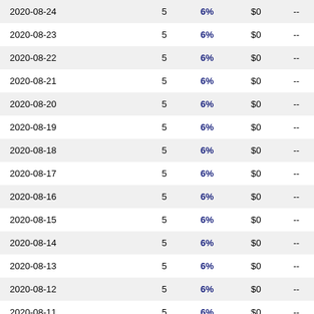| Date |  | Rate | Amount |  |
| --- | --- | --- | --- | --- |
| 2020-08-24 | 5 | 6% | $0 | -- |
| 2020-08-23 | 5 | 6% | $0 | -- |
| 2020-08-22 | 5 | 6% | $0 | -- |
| 2020-08-21 | 5 | 6% | $0 | -- |
| 2020-08-20 | 5 | 6% | $0 | -- |
| 2020-08-19 | 5 | 6% | $0 | -- |
| 2020-08-18 | 5 | 6% | $0 | -- |
| 2020-08-17 | 5 | 6% | $0 | -- |
| 2020-08-16 | 5 | 6% | $0 | -- |
| 2020-08-15 | 5 | 6% | $0 | -- |
| 2020-08-14 | 5 | 6% | $0 | -- |
| 2020-08-13 | 5 | 6% | $0 | -- |
| 2020-08-12 | 5 | 6% | $0 | -- |
| 2020-08-11 | 5 | 6% | $0 | -- |
| 2020-08-10 | 5 | 6% | $0 | -- |
| 2020-08-09 | 5 | 6% | $0 | -- |